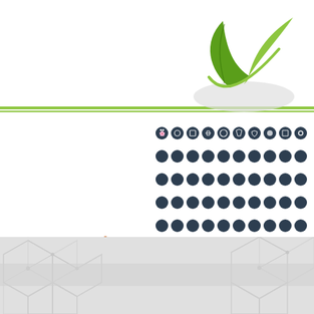[Figure (illustration): Green leaf logo with two overlapping leaves and white oval shadow, positioned top right]
[Figure (illustration): Agriculture icon showing water tower, tractor, wheat stalks on a circular green and orange field]
[Figure (infographic): Grid of 90 circular dark navy agriculture and farming icons arranged in 9 rows of 10]
[Figure (illustration): Bottom section with gray hexagon pattern background and lighter horizontal banner strip]